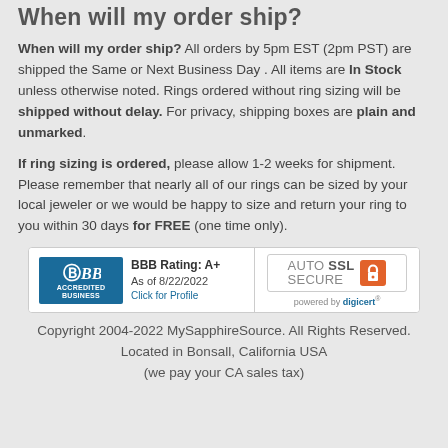When will my order ship?
When will my order ship? All orders by 5pm EST (2pm PST) are shipped the Same or Next Business Day . All items are In Stock unless otherwise noted. Rings ordered without ring sizing will be shipped without delay. For privacy, shipping boxes are plain and unmarked.
If ring sizing is ordered, please allow 1-2 weeks for shipment. Please remember that nearly all of our rings can be sized by your local jeweler or we would be happy to size and return your ring to you within 30 days for FREE (one time only).
[Figure (logo): BBB Accredited Business badge with A+ rating as of 8/22/2022 and AutoSSL Secure badge powered by digicert]
Copyright 2004-2022 MySapphireSource. All Rights Reserved.
Located in Bonsall, California USA
(we pay your CA sales tax)